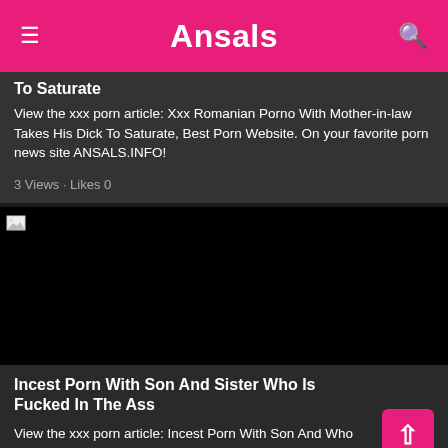Ansals
To Saturate
View the xxx porn article: Xxx Romanian Porno With Mother-in-law Takes His Dick To Saturate, Best Porn Website. On your favorite porn news site ANSALS.INFO!
3 Views · Likes 0
[Figure (photo): Black image placeholder with broken image icon in top-left corner]
Incest Porn With Son And Sister Who Is Fucked In The Ass
View the xxx porn article: Incest Porn With Son And Who Is Fucked In The Ass, Best Porn Website. On your